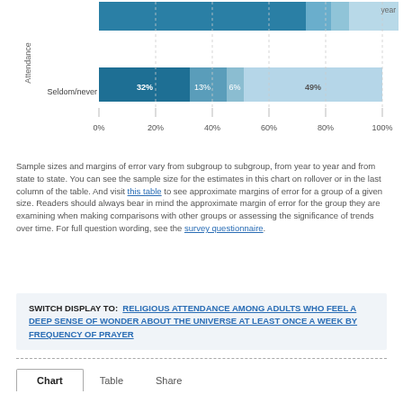[Figure (stacked-bar-chart): Religious attendance by category]
Sample sizes and margins of error vary from subgroup to subgroup, from year to year and from state to state. You can see the sample size for the estimates in this chart on rollover or in the last column of the table. And visit this table to see approximate margins of error for a group of a given size. Readers should always bear in mind the approximate margin of error for the group they are examining when making comparisons with other groups or assessing the significance of trends over time. For full question wording, see the survey questionnaire.
SWITCH DISPLAY TO: RELIGIOUS ATTENDANCE AMONG ADULTS WHO FEEL A DEEP SENSE OF WONDER ABOUT THE UNIVERSE AT LEAST ONCE A WEEK BY FREQUENCY OF PRAYER